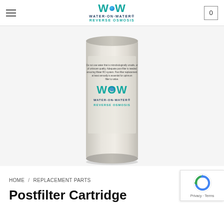WOW WATER·ON·WATER® REVERSE OSMOSIS — navigation header with hamburger menu and cart (0)
[Figure (photo): A white cylindrical WOW Water-On-Water Reverse Osmosis postfilter cartridge product, standing upright on a white background. The label shows the WOW logo with teal branding and the words WATER·ON·WATER® REVERSE OSMOSIS.]
HOME / REPLACEMENT PARTS
Postfilter Cartridge